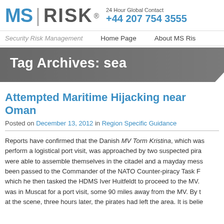MS RISK® 24 Hour Global Contact +44 207 754 3555
Security Risk Management   Home Page   About MS Ris...
Tag Archives: sea
Attempted Maritime Hijacking near Oman
Posted on December 13, 2012 in Region Specific Guidance
Reports have confirmed that the Danish MV Torm Kristina, which wa... perform a logistical port visit, was approached by two suspected pira... were able to assemble themselves in the citadel and a mayday mess... been passed to the Commander of the NATO Counter-piracy Task F... which he then tasked the HDMS Iver Huitfeldt to proceed to the MV... was in Muscat for a port visit, some 90 miles away from the MV. By t... at the scene, three hours later, the pirates had left the area. It is belie...